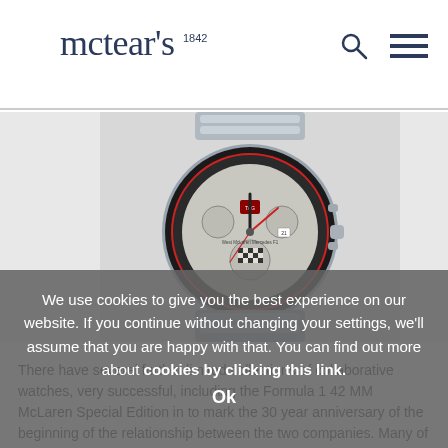mctear's 1842
[Figure (photo): TAG Heuer McLaren Formula 1 chronograph watch with silver dial, checkerboard sub-dial, and metal bracelet on white background]
We use cookies to give you the best experience on our website. If you continue without changing your settings, we'll assume that you are happy with that. You can find out more about cookies by clicking this link.
Ok
There have several further limited collections of collaborative watches, very successful, including the Formula 1 42 MM McLaren Special Edition in to mark the 30 year anniversary of the beginning of the relationship between the two companies. Many of these watches are quartz, more affordable than an automatic